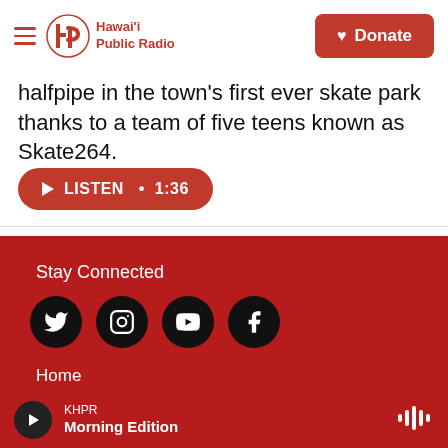Hawai'i Public Radio — Donate
halfpipe in the town's first ever skate park thanks to a team of five teens known as Skate264.
LISTEN • 1:36
Stay Connected
[Figure (infographic): Four social media icons: Twitter, Instagram, YouTube, Facebook in black circles]
Home
HPR-1 Schedule
KHPR Morning Edition